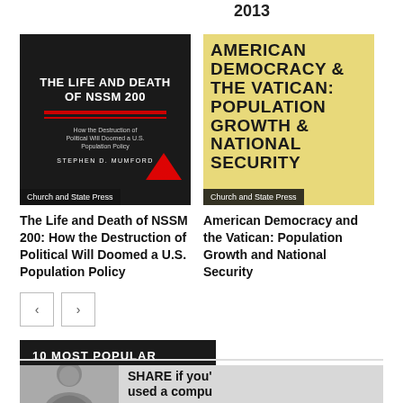2013
[Figure (illustration): Book cover: The Life and Death of NSSM 200: How the Destruction of Political Will Doomed a U.S. Population Policy, by Stephen D. Mumford. Church and State Press. Dark/black cover with red lines.]
[Figure (illustration): Book cover: American Democracy and the Vatican: Population Growth and National Security. Church and State Press. Yellow/gold cover with large black bold text.]
The Life and Death of NSSM 200: How the Destruction of Political Will Doomed a U.S. Population Policy
American Democracy and the Vatican: Population Growth and National Security
10 MOST POPULAR
[Figure (photo): Black and white photo of a person on the left side; text on the right reads 'SHARE if you' and 'used a compu' (partially visible).]